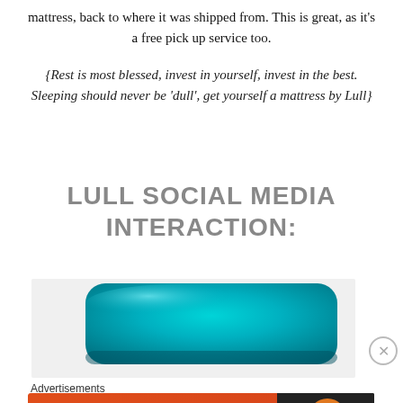mattress, back to where it was shipped from. This is great, as it's a free pick up service too.
{Rest is most blessed, invest in yourself, invest in the best. Sleeping should never be 'dull', get yourself a mattress by Lull}
LULL SOCIAL MEDIA INTERACTION:
[Figure (photo): Photo of a teal/turquoise colored product (appears to be a mattress or similar item) with glossy surface visible from below]
Advertisements
[Figure (screenshot): DuckDuckGo advertisement banner: orange background on left with text 'Search, browse, and email with more privacy.' and 'All in One Free App' button; dark right panel with DuckDuckGo duck logo and brand name]